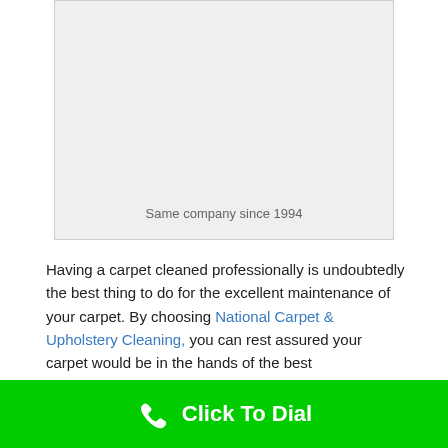[Figure (photo): Light gray placeholder image box with caption 'Same company since 1994']
Having a carpet cleaned professionally is undoubtedly the best thing to do for the excellent maintenance of your carpet. By choosing National Carpet & Upholstery Cleaning, you can rest assured your carpet would be in the hands of the best professionals. We have immense pride in our rich experience as it is our extensive
Click To Dial